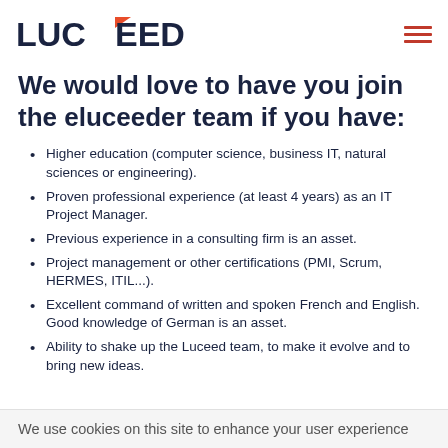LUCEED
We would love to have you join the eluceeder team if you have:
Higher education (computer science, business IT, natural sciences or engineering).
Proven professional experience (at least 4 years) as an IT Project Manager.
Previous experience in a consulting firm is an asset.
Project management or other certifications (PMI, Scrum, HERMES, ITIL...).
Excellent command of written and spoken French and English. Good knowledge of German is an asset.
Ability to shake up the Luceed team, to make it evolve and to bring new ideas.
We use cookies on this site to enhance your user experience